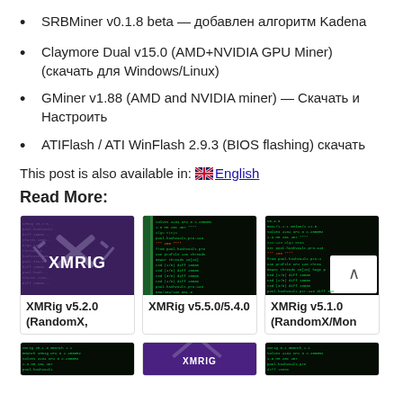SRBMiner v0.1.8 beta — добавлен алгоритм Kadena
Claymore Dual v15.0 (AMD+NVIDIA GPU Miner) (скачать для Windows/Linux)
GMiner v1.88 (AMD and NVIDIA miner) — Скачать и Настроить
ATIFlash / ATI WinFlash 2.9.3 (BIOS flashing) скачать
This post is also available in: 🇬🇧English
Read More:
[Figure (screenshot): XMRig logo with crossed hammers on dark purple background]
[Figure (screenshot): XMRig terminal output showing mining stats, green text on dark background with colored sidebar]
[Figure (screenshot): XMRig v5.1.0 terminal output with white back-to-top button overlay]
[Figure (screenshot): Partial XMRig terminal screenshot, dark background]
[Figure (screenshot): Partial XMRig logo screenshot, purple background]
[Figure (screenshot): Partial XMRig terminal screenshot, dark background]